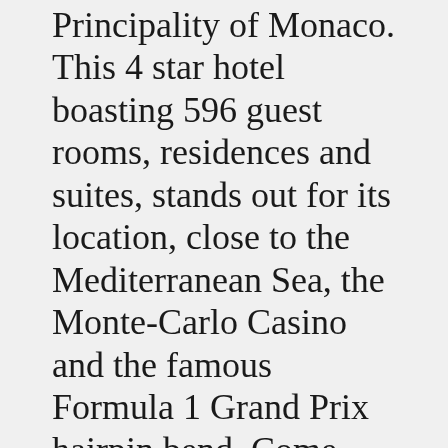Principality of Monaco. This 4 star hotel boasting 596 guest rooms, residences and suites, stands out for its location, close to the Mediterranean Sea, the Monte-Carlo Casino and the famous Formula 1 Grand Prix hairpin bend. Come and discover the charm of this luxury ... RMC VIP Lounge gives the listeners the kinds of programs they wants from them and this is why this is a very popular online radio station. Detalii de contact-Site-ul web: